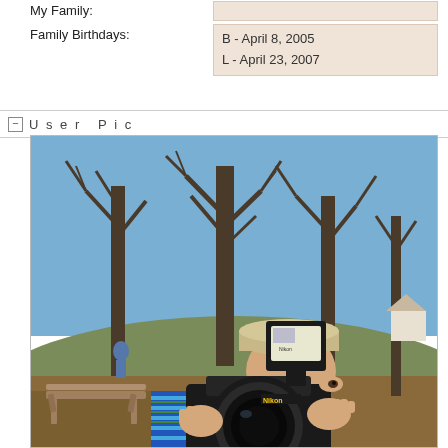| Label | Value |
| --- | --- |
| My Family: |  |
| Family Birthdays: | B - April 8, 2005
L - April 23, 2007 |
User Pic
[Figure (photo): A young child holding a large Nikon DSLR camera with an external flash unit mounted on top. The child is wearing a beige cap and a blue striped shirt. The photo is taken outdoors in a park with bare trees and a blue sky in the background. A wooden park bench is visible in the lower left. The child appears to be looking through or just over the camera viewfinder.]